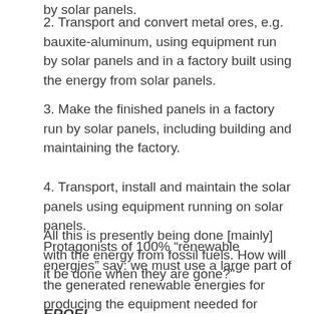by solar panels.
2. Transport and convert metal ores, e.g. bauxite-aluminum, using equipment run by solar panels and in a factory built using the energy from solar panels.
3. Make the finished panels in a factory run by solar panels, including building and maintaining the factory.
4. Transport, install and maintain the solar panels using equipment running on solar panels.
All this is presently being done [mainly] with the energy from fossil fuels. How will it be done when they are gone?"
EROEI
Protagonists of 100% “renewable energies” say: we must use a large part of the generated renewable energies for producing the equipment needed for